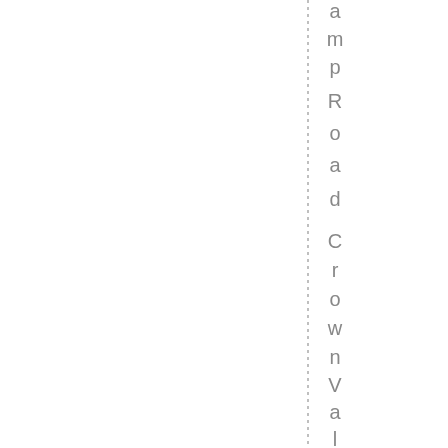[Figure (other): Vertical dotted line on the right side of the page, with vertically written text reading 'amp Road Crown Valley Parkwa' arranged character by character top to bottom]